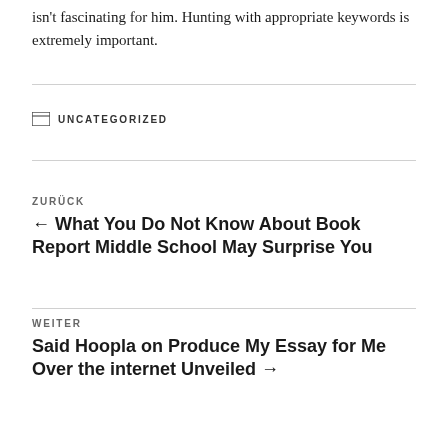isn't fascinating for him. Hunting with appropriate keywords is extremely important.
UNCATEGORIZED
ZURÜCK
← What You Do Not Know About Book Report Middle School May Surprise You
WEITER
Said Hoopla on Produce My Essay for Me Over the internet Unveiled →